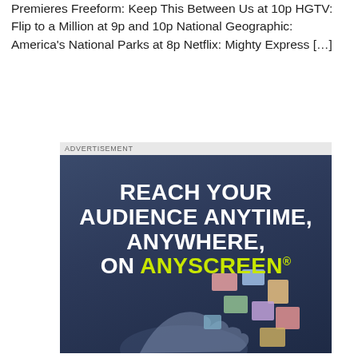Premieres Freeform: Keep This Between Us at 10p HGTV: Flip to a Million at 9p and 10p National Geographic: America's National Parks at 8p Netflix: Mighty Express […]
[Figure (infographic): Advertisement banner with dark blue background and bold white text reading 'REACH YOUR AUDIENCE ANYTIME, ANYWHERE, ON ANYSCREEN®' where ANYSCREEN is in yellow-green color. Bottom portion shows a hand holding various media content images.]